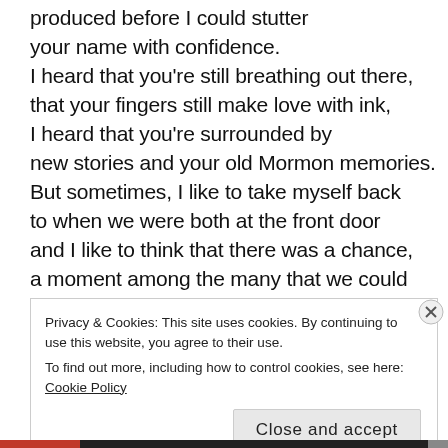produced before I could stutter your name with confidence. I heard that you're still breathing out there, that your fingers still make love with ink, I heard that you're surrounded by new stories and your old Mormon memories. But sometimes, I like to take myself back to when we were both at the front door and I like to think that there was a chance, a moment among the many that we could never grasp, where we never had to say goodbye.
Privacy & Cookies: This site uses cookies. By continuing to use this website, you agree to their use. To find out more, including how to control cookies, see here: Cookie Policy